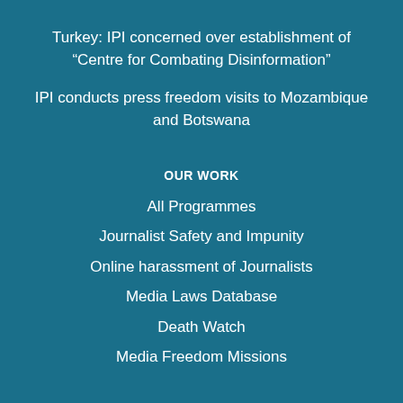Turkey: IPI concerned over establishment of “Centre for Combating Disinformation”
IPI conducts press freedom visits to Mozambique and Botswana
OUR WORK
All Programmes
Journalist Safety and Impunity
Online harassment of Journalists
Media Laws Database
Death Watch
Media Freedom Missions